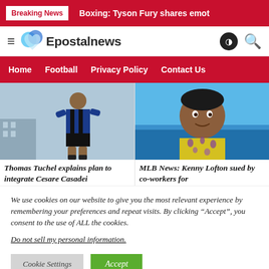Breaking News | Boxing: Tyson Fury shares emot
[Figure (logo): Epostalnews logo with teal/blue heart icon and site name]
Home | Football | Privacy Policy | Contact Us
[Figure (photo): Soccer player in blue and black striped jersey running]
[Figure (photo): Portrait of Kenny Lofton smiling, wearing floral shirt, ocean background]
Thomas Tuchel explains plan to integrate Cesare Casadei
MLB News: Kenny Lofton sued by co-workers for
We use cookies on our website to give you the most relevant experience by remembering your preferences and repeat visits. By clicking “Accept”, you consent to the use of ALL the cookies.
Do not sell my personal information.